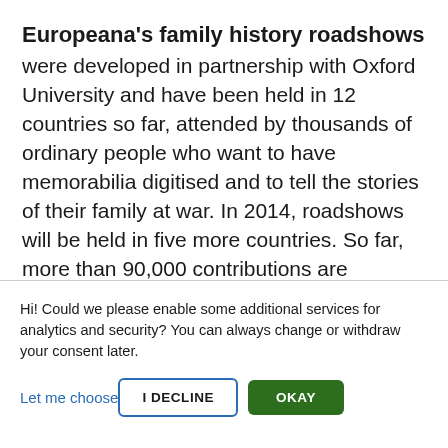Europeana's family history roadshows
were developed in partnership with Oxford University and have been held in 12 countries so far, attended by thousands of ordinary people who want to have memorabilia digitised and to tell the stories of their family at war. In 2014, roadshows will be held in five more countries. So far, more than 90,000 contributions are accessible online. Families are also
Hi! Could we please enable some additional services for analytics and security? You can always change or withdraw your consent later.
Let me choose
I DECLINE
OKAY